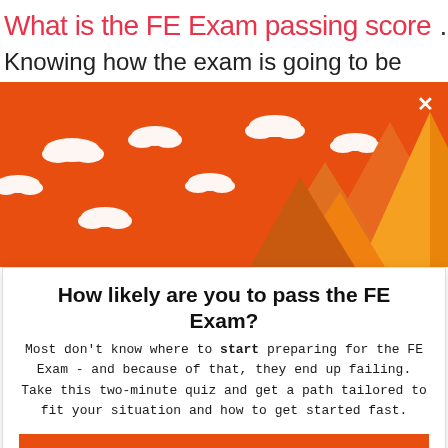What is the FE Exam passing score ...
Knowing how the exam is going to be
[Figure (illustration): Orange banner with white clouds and mountain illustrations (orange, yellow, gold peaks) on the right side, with a white X close button in the top right corner.]
How likely are you to pass the FE Exam?
Most don't know where to start preparing for the FE Exam - and because of that, they end up failing. Take this two-minute quiz and get a path tailored to fit your situation and how to get started fast.
TAKE THE QUIZ